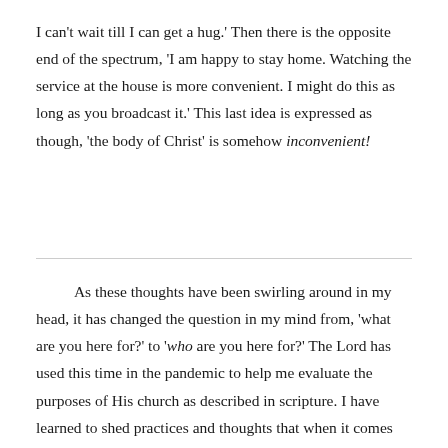I can't wait till I can get a hug.' Then there is the opposite end of the spectrum, 'I am happy to stay home. Watching the service at the house is more convenient. I might do this as long as you broadcast it.' This last idea is expressed as though, 'the body of Christ' is somehow inconvenient!
As these thoughts have been swirling around in my head, it has changed the question in my mind from, 'what are you here for?' to 'who are you here for?' The Lord has used this time in the pandemic to help me evaluate the purposes of His church as described in scripture. I have learned to shed practices and thoughts that when it comes down to it, are not really good reasons for attending worship. When we come to our